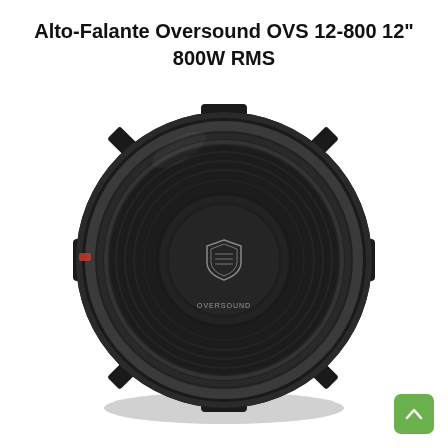Alto-Falante Oversound OVS 12-800 12" 800W RMS
[Figure (photo): A black 12-inch car audio speaker (woofer) from Oversound, model OVS 12-800, shown at a slight angle. The speaker has a large round black frame with mounting notches, a corrugated surround, and a black dust cap with the Oversound logo in silver. A green scroll-to-top button with an upward chevron arrow is visible in the bottom right corner.]